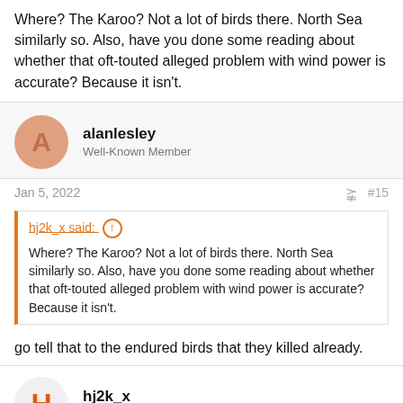Where? The Karoo? Not a lot of birds there. North Sea similarly so. Also, have you done some reading about whether that oft-touted alleged problem with wind power is accurate? Because it isn't.
alanlesley
Well-Known Member
Jan 5, 2022
#15
hj2k_x said:
Where? The Karoo? Not a lot of birds there. North Sea similarly so. Also, have you done some reading about whether that oft-touted alleged problem with wind power is accurate? Because it isn't.
go tell that to the endured birds that they killed already.
hj2k_x
Honorary Master